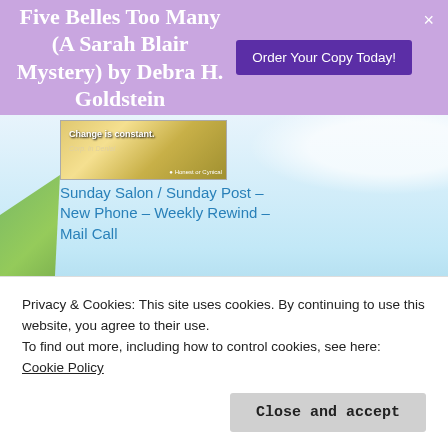Five Belles Too Many (A Sarah Blair Mystery) by Debra H. Goldstein
Order Your Copy Today!
[Figure (screenshot): Thumbnail image with text 'Change is constant.' and subtitle 'Corp. in Denial']
Sunday Salon / Sunday Post – New Phone – Weekly Rewind – Mail Call
December 15, 2019
In "Sunday Salon / Sunday Post"
Privacy & Cookies: This site uses cookies. By continuing to use this website, you agree to their use.
To find out more, including how to control cookies, see here: Cookie Policy
Close and accept
Traditional Mystery